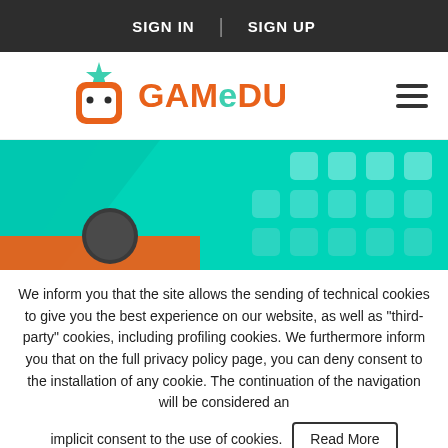SIGN IN | SIGN UP
[Figure (logo): GAMeDU logo with orange robot icon and teal star, orange text reading GAMeDU with a teal lowercase e]
[Figure (illustration): Teal/cyan banner with geometric square pattern tiles and partial view of a character or robot at bottom left]
We inform you that the site allows the sending of technical cookies to give you the best experience on our website, as well as "third-party" cookies, including profiling cookies. We furthermore inform you that on the full privacy policy page, you can deny consent to the installation of any cookie. The continuation of the navigation will be considered an
implicit consent to the use of cookies.
Read More
Cookie settings
Proceed to website